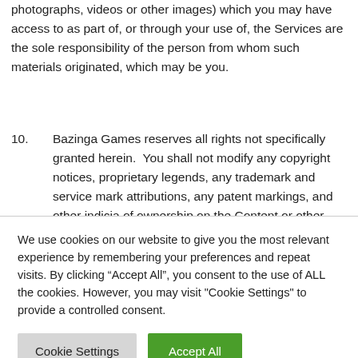photographs, videos or other images) which you may have access to as part of, or through your use of, the Services are the sole responsibility of the person from whom such materials originated, which may be you.
10. Bazinga Games reserves all rights not specifically granted herein. You shall not modify any copyright notices, proprietary legends, any trademark and service mark attributions, any patent markings, and other indicia of ownership on the Content or other materials accessed through the Service. The delivery of, and license to, the Content and/or access to third
We use cookies on our website to give you the most relevant experience by remembering your preferences and repeat visits. By clicking “Accept All”, you consent to the use of ALL the cookies. However, you may visit "Cookie Settings" to provide a controlled consent.